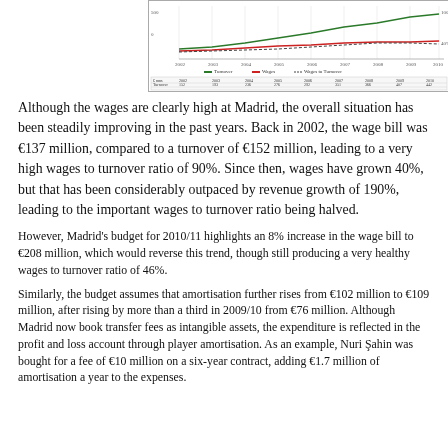[Figure (line-chart): Chart showing Turnover, Wages, and Wages to Turnover ratio for Real Madrid from 2002 to 2010, with a small data table below the chart lines.]
Although the wages are clearly high at Madrid, the overall situation has been steadily improving in the past years. Back in 2002, the wage bill was €137 million, compared to a turnover of €152 million, leading to a very high wages to turnover ratio of 90%. Since then, wages have grown 40%, but that has been considerably outpaced by revenue growth of 190%, leading to the important wages to turnover ratio being halved.
However, Madrid's budget for 2010/11 highlights an 8% increase in the wage bill to €208 million, which would reverse this trend, though still producing a very healthy wages to turnover ratio of 46%.
Similarly, the budget assumes that amortisation further rises from €102 million to €109 million, after rising by more than a third in 2009/10 from €76 million. Although Madrid now book transfer fees as intangible assets, the expenditure is reflected in the profit and loss account through player amortisation. As an example, Nuri Şahin was bought for a fee of €10 million on a six-year contract, adding €1.7 million of amortisation a year to the expenses.